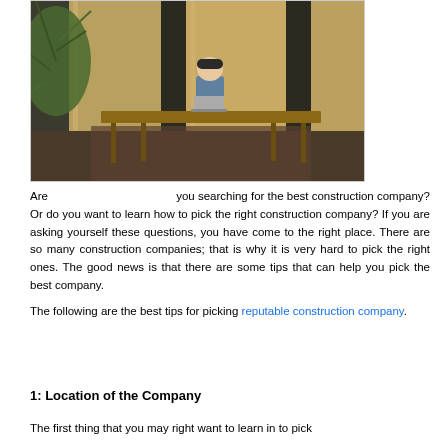[Figure (photo): Person sitting at a wooden desk working on a laptop in a modern interior space with plants and reflective walls]
Are you searching for the best construction company? Or do you want to learn how to pick the right construction company? If you are asking yourself these questions, you have come to the right place. There are so many construction companies; that is why it is very hard to pick the right ones. The good news is that there are some tips that can help you pick the best company.
The following are the best tips for picking reputable construction company.
1: Location of the Company
The first thing that you may right want to learn in to pick